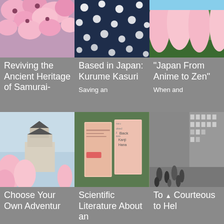[Figure (photo): Cherry blossom flowers, pink blooms closeup]
Reviving the Ancient Heritage of Samurai-
[Figure (photo): Dark indigo fabric with white dot patterns - Japanese kasuri textile]
Based in Japan: Kurume Kasuri
Saving an
[Figure (photo): Pink cherry blossom trees in a park]
"Japan From Anime to Zen"
When and
[Figure (photo): Japanese castle with cherry blossoms in foreground, blue sky]
Choose Your Own Adventur
[Figure (photo): Book covers in pink and salmon tones with Japanese text and bushes in background]
Scientific Literature About an
[Figure (photo): Black and white photo of busy city street with pedestrians and glass buildings]
To Courteous to Hel